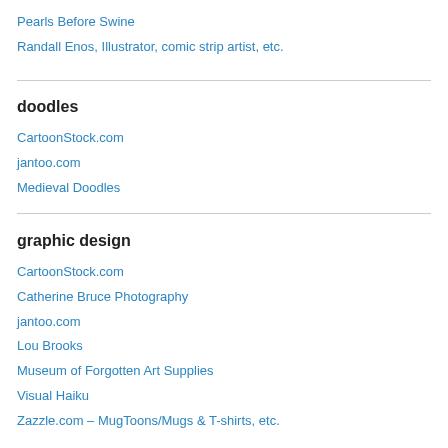Pearls Before Swine
Randall Enos, Illustrator, comic strip artist, etc.
doodles
CartoonStock.com
jantoo.com
Medieval Doodles
graphic design
CartoonStock.com
Catherine Bruce Photography
jantoo.com
Lou Brooks
Museum of Forgotten Art Supplies
Visual Haiku
Zazzle.com – MugToons/Mugs & T-shirts, etc.